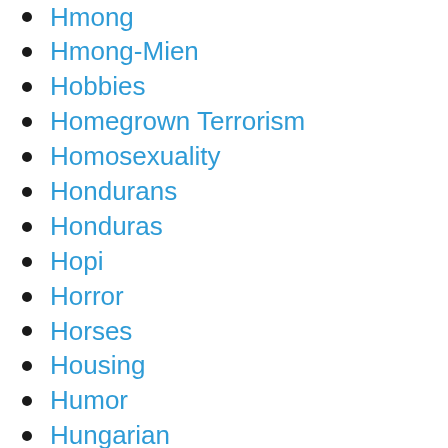Hmong
Hmong-Mien
Hobbies
Homegrown Terrorism
Homosexuality
Hondurans
Honduras
Hopi
Horror
Horses
Housing
Humor
Hungarian
Hungarians
Hungary
Hurricane Katrina
Hurricanes